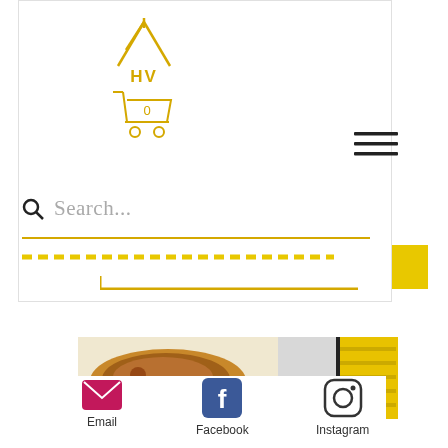[Figure (logo): HV brand logo in yellow — stylized letter A/house shape above 'HV' text]
[Figure (illustration): Yellow shopping cart icon with '0' label]
[Figure (illustration): Hamburger menu icon (three horizontal lines)]
Search...
[Figure (illustration): Yellow dashed divider line with yellow block on right and bracket element below]
[Figure (photo): Food photo — cookie or pastry on white plate on the left, yellow patterned textile on the right]
[Figure (illustration): Email icon (pink/magenta rectangle with envelope)]
Email
[Figure (illustration): Facebook icon (blue square with F)]
Facebook
[Figure (illustration): Instagram icon (rounded square outline with circle and dot)]
Instagram